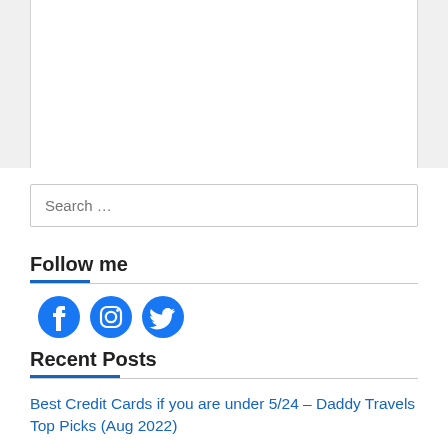Search …
Follow me
[Figure (illustration): Social media icons: Facebook (blue circle with f), Instagram (blue camera outline), Twitter (blue bird)]
Recent Posts
Best Credit Cards if you are under 5/24 – Daddy Travels Top Picks (Aug 2022)
How I got money back & 7 years of warranty on my